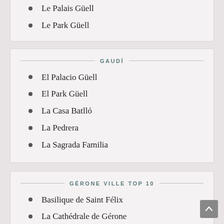Le Palais Güell
Le Park Güell
GAUDÍ
El Palacio Güell
El Park Güell
La Casa Batlló
La Pedrera
La Sagrada Familia
GÉRONE VILLE TOP 10
Basilique de Saint Félix
La Cathédrale de Gérone
La Farinière Teixidor